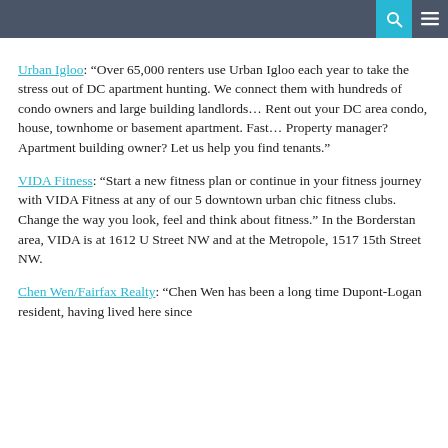Urban Igloo: “Over 65,000 renters use Urban Igloo each year to take the stress out of DC apartment hunting. We connect them with hundreds of condo owners and large building landlords... Rent out your DC area condo, house, townhome or basement apartment. Fast... Property manager? Apartment building owner? Let us help you find tenants.”
VIDA Fitness: “Start a new fitness plan or continue in your fitness journey with VIDA Fitness at any of our 5 downtown urban chic fitness clubs. Change the way you look, feel and think about fitness.” In the Borderstan area, VIDA is at 1612 U Street NW and at the Metropole, 1517 15th Street NW.
Chen Wen/Fairfax Realty: “Chen Wen has been a long time Dupont-Logan resident, having lived here since